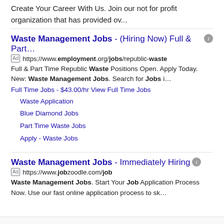Create Your Career With Us. Join our not for profit organization that has provided ov...
Waste Management Jobs - (Hiring Now) Full & Part... [Ad] https://www.employment.org/jobs/republic-waste Full & Part Time Republic Waste Positions Open. Apply Today. New: Waste Management Jobs. Search for Jobs i... Full Time Jobs - $43.00/hr View Full Time Jobs
Waste Application
Blue Diamond Jobs
Part Time Waste Jobs
Apply - Waste Jobs
Waste Management Jobs - Immediately Hiring [Ad] https://www.jobzoodle.com/job Waste Management Jobs. Start Your Job Application Process Now. Use our fast online application process to sk...